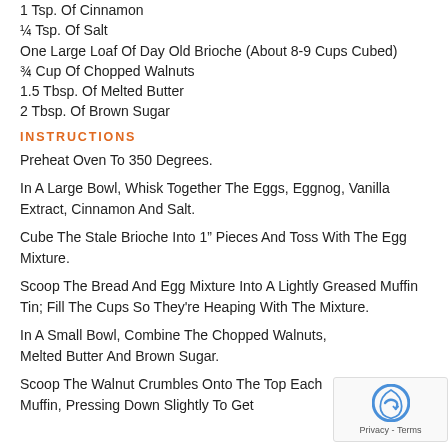1 Tsp. Of Cinnamon
¼ Tsp. Of Salt
One Large Loaf Of Day Old Brioche (About 8-9 Cups Cubed)
¾ Cup Of Chopped Walnuts
1.5 Tbsp. Of Melted Butter
2 Tbsp. Of Brown Sugar
INSTRUCTIONS
Preheat Oven To 350 Degrees.
In A Large Bowl, Whisk Together The Eggs, Eggnog, Vanilla Extract, Cinnamon And Salt.
Cube The Stale Brioche Into 1″ Pieces And Toss With The Egg Mixture.
Scoop The Bread And Egg Mixture Into A Lightly Greased Muffin Tin; Fill The Cups So They're Heaping With The Mixture.
In A Small Bowl, Combine The Chopped Walnuts, Melted Butter And Brown Sugar.
Scoop The Walnut Crumbles Onto The Top Each Muffin, Pressing Down Slightly To Get